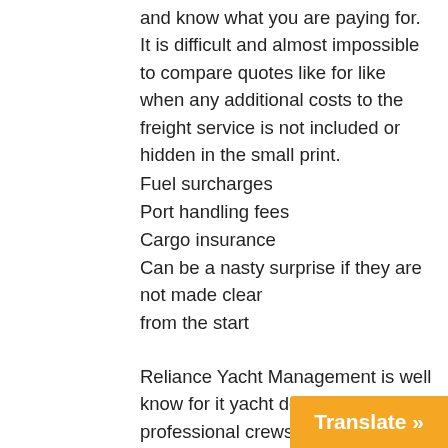and know what you are paying for. It is difficult and almost impossible to compare quotes like for like when any additional costs to the freight service is not included or hidden in the small print.
Fuel surcharges
Port handling fees
Cargo insurance
Can be a nasty surprise if they are not made clear from the start
Reliance Yacht Management is well know for it yacht deliveries with professional crews but what is less know is the options we supply to our corporate clients for freight services. For some years now we have providing shipping services across the Atlantic and more recently from Europe to the US West coast.
We have developed strong business relationships with all the specialist shipping lines and some of the small ones as well that enables us to ne